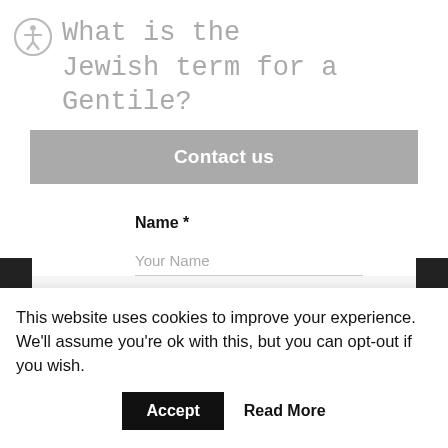What is the Jewish term for a Gentile?
Contact us
Name *
Your Name
Email
This website uses cookies to improve your experience. We'll assume you're ok with this, but you can opt-out if you wish.
Accept
Read More